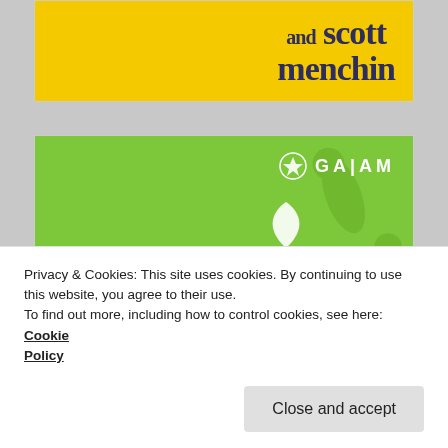[Figure (illustration): Yellow background book cover card showing 'and scott menchin' in dark blue serif bold text on yellow background]
[Figure (illustration): Gaiam Dino-Mite Adventure product card with green background, smiling girl with arm raised, GAIAM logo top right, dinosaur decorations, title 'Dino-Mite Adventure with Jodi Komitor']
Privacy & Cookies: This site uses cookies. By continuing to use this website, you agree to their use.
To find out more, including how to control cookies, see here: Cookie Policy
Close and accept